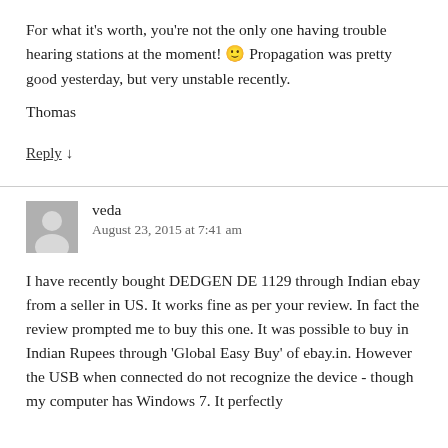For what it's worth, you're not the only one having trouble hearing stations at the moment! 🙂 Propagation was pretty good yesterday, but very unstable recently.
Thomas
Reply ↓
veda
August 23, 2015 at 7:41 am
I have recently bought DEDGEN DE 1129 through Indian ebay from a seller in US. It works fine as per your review. In fact the review prompted me to buy this one. It was possible to buy in Indian Rupees through 'Global Easy Buy' of ebay.in. However the USB when connected do not recognize the device - though my computer has Windows 7. It perfectly